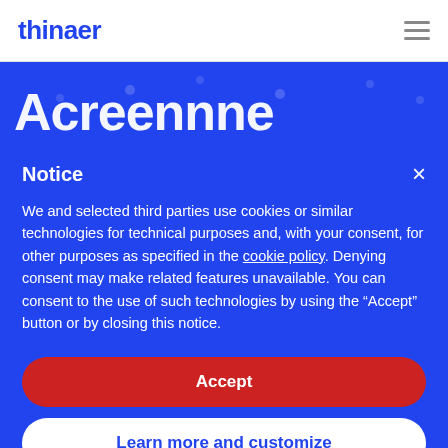thinaer
Acreennne
Notice
We and selected third parties use cookies or similar technologies for technical purposes and, with your consent, for other purposes as specified in the cookie policy. Denying consent may make related features unavailable. You can consent to the use of such technologies by using the “Accept” button or by closing this notice.
Accept
Learn more and customize